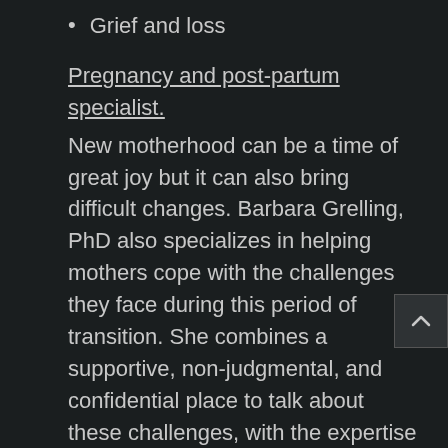Grief and loss
Pregnancy and post-partum specialist.
New motherhood can be a time of great joy but it can also bring difficult changes. Barbara Grelling, PhD also specializes in helping mothers cope with the challenges they face during this period of transition. She combines a supportive, non-judgmental, and confidential place to talk about these challenges, with the expertise needed to understand the complex biological changes taking place at this time. In addition to postpartum work, she also has expertise in working with women and couples coping facing a range of obstetric